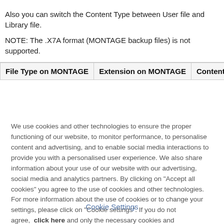Also you can switch the Content Type between User file and Library file.
NOTE: The .X7A format (MONTAGE backup files) is not supported.
| File Type on MONTAGE | Extension on MONTAGE | Content... |
| --- | --- | --- |
We use cookies and other technologies to ensure the proper functioning of our website, to monitor performance, to personalise content and advertising, and to enable social media interactions to provide you with a personalised user experience. We also share information about your use of our website with our advertising, social media and analytics partners. By clicking on "Accept all cookies" you agree to the use of cookies and other technologies. For more information about the use of cookies or to change your settings, please click on "Cookie settings". If you do not agree,  click here and only the necessary cookies and technologies will be set.
Imprint   Privacy Policy   Cookie Policy
Cookie Settings